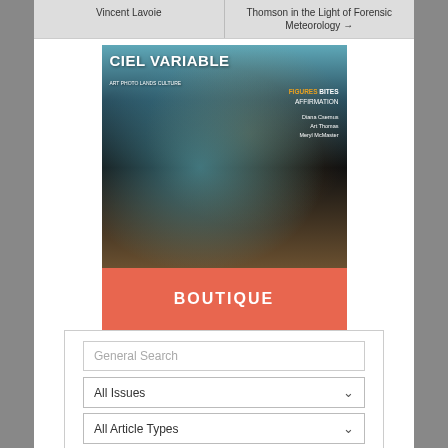Vincent Lavoie
Thomson in the Light of Forensic Meteorology →
[Figure (photo): Magazine cover of Ciel Variable featuring a person in colorful Indigenous regalia with beaded accessories, text reads CIEL VARIABLE, FIGURES AFFIRMATION, Diana Csernus, Art Thomas, Meryl McMaster]
BOUTIQUE
General Search
All Issues
All Article Types
All Artists